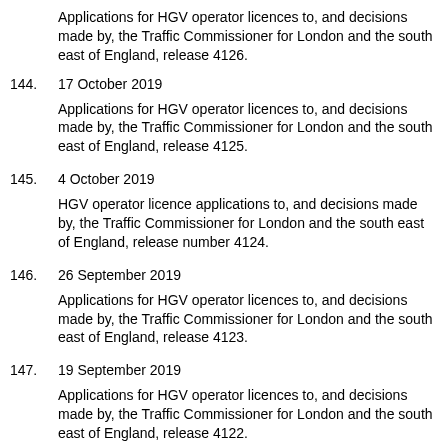Applications for HGV operator licences to, and decisions made by, the Traffic Commissioner for London and the south east of England, release 4126.
144. 17 October 2019
Applications for HGV operator licences to, and decisions made by, the Traffic Commissioner for London and the south east of England, release 4125.
145. 4 October 2019
HGV operator licence applications to, and decisions made by, the Traffic Commissioner for London and the south east of England, release number 4124.
146. 26 September 2019
Applications for HGV operator licences to, and decisions made by, the Traffic Commissioner for London and the south east of England, release 4123.
147. 19 September 2019
Applications for HGV operator licences to, and decisions made by, the Traffic Commissioner for London and the south east of England, release 4122.